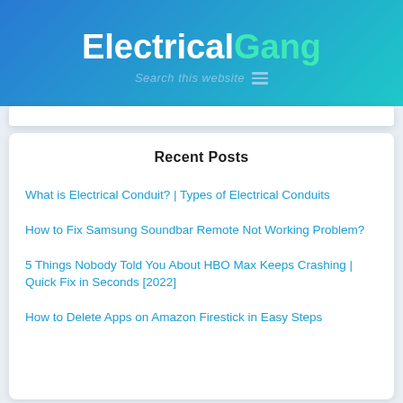ElectricalGang
Recent Posts
What is Electrical Conduit? | Types of Electrical Conduits
How to Fix Samsung Soundbar Remote Not Working Problem?
5 Things Nobody Told You About HBO Max Keeps Crashing | Quick Fix in Seconds [2022]
How to Delete Apps on Amazon Firestick in Easy Steps